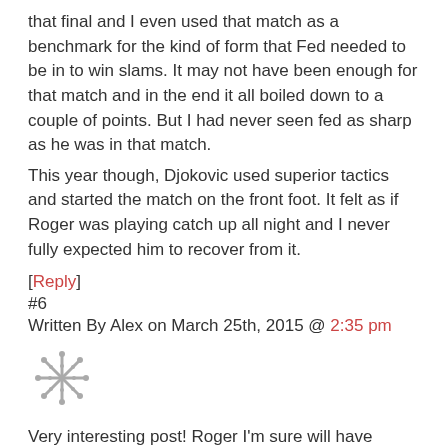that final and I even used that match as a benchmark for the kind of form that Fed needed to be in to win slams. It may not have been enough for that match and in the end it all boiled down to a couple of points. But I had never seen fed as sharp as he was in that match.
This year though, Djokovic used superior tactics and started the match on the front foot. It felt as if Roger was playing catch up all night and I never fully expected him to recover from it.
[Reply]
#6
Written By Alex on March 25th, 2015 @ 2:35 pm
[Figure (other): Small decorative avatar/icon image with a star/snowflake pattern in gray]
Very interesting post! Roger I'm sure will have talked about what he could do with Severin and Stefan, he is shrewd